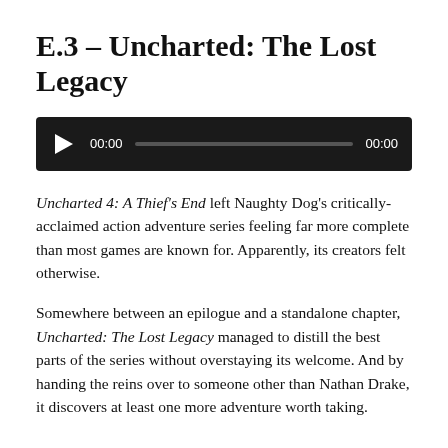E.3 – Uncharted: The Lost Legacy
[Figure (other): Audio player widget with play button, time display 00:00, progress bar, and end time 00:00 on a dark background]
Uncharted 4: A Thief's End left Naughty Dog's critically-acclaimed action adventure series feeling far more complete than most games are known for. Apparently, its creators felt otherwise.
Somewhere between an epilogue and a standalone chapter, Uncharted: The Lost Legacy managed to distill the best parts of the series without overstaying its welcome. And by handing the reins over to someone other than Nathan Drake, it discovers at least one more adventure worth taking.